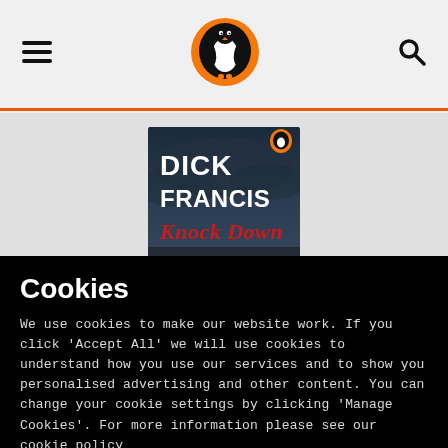Penguin Books website header with hamburger menu, Penguin logo, and search icon
[Figure (illustration): Book cover of 'Knock Down' by Dick Francis — dark stormy sky background, author name in large white bold text, title in red italic text, small Penguin logo in top right corner]
Cookies
We use cookies to make our website work. If you click 'Accept All' we will use cookies to understand how you use our services and to show you personalised advertising and other content. You can change your cookie settings by clicking 'Manage Cookies'. For more information please see our cookie policy